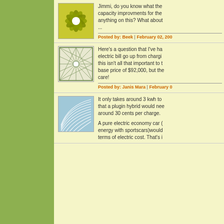[Figure (illustration): Green flower/leaf pattern avatar icon]
Jimmi, do you know what the capacity improvments for the anything on this? What about
Posted by: Beek | February 02, 200
[Figure (illustration): Green geometric web/grid pattern avatar icon]
Here's a question that I've ha electric bill go up from chargi this isn't all that important to t base price of $92,000, but the care!
Posted by: Janis Mara | February 0
[Figure (illustration): Blue curved lines/waves pattern avatar icon]
It only takes around 3 kwh to that a plugin hybrid would nee around 30 cents per charge.
A pure electric economy car ( energy with sportscars)would terms of electric cost. That's i